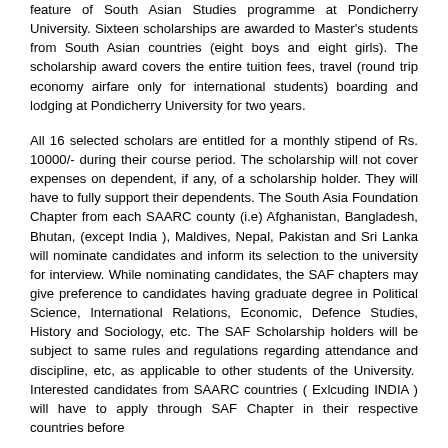feature of South Asian Studies programme at Pondicherry University. Sixteen scholarships are awarded to Master's students from South Asian countries (eight boys and eight girls). The scholarship award covers the entire tuition fees, travel (round trip economy airfare only for international students) boarding and lodging at Pondicherry University for two years.
All 16 selected scholars are entitled for a monthly stipend of Rs. 10000/- during their course period. The scholarship will not cover expenses on dependent, if any, of a scholarship holder. They will have to fully support their dependents. The South Asia Foundation Chapter from each SAARC county (i.e) Afghanistan, Bangladesh, Bhutan, (except India ), Maldives, Nepal, Pakistan and Sri Lanka will nominate candidates and inform its selection to the university for interview. While nominating candidates, the SAF chapters may give preference to candidates having graduate degree in Political Science, International Relations, Economic, Defence Studies, History and Sociology, etc. The SAF Scholarship holders will be subject to same rules and regulations regarding attendance and discipline, etc, as applicable to other students of the University. Interested candidates from SAARC countries ( Exlcuding INDIA ) will have to apply through SAF Chapter in their respective countries before